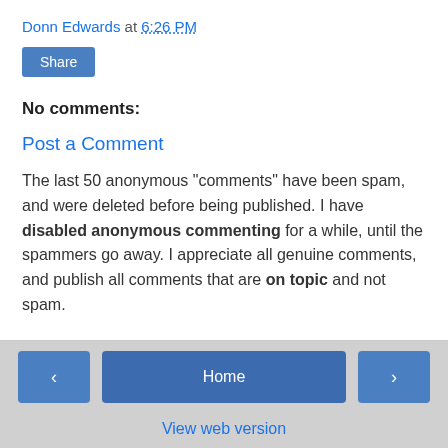Donn Edwards at 6:26 PM
Share
No comments:
Post a Comment
The last 50 anonymous "comments" have been spam, and were deleted before being published. I have disabled anonymous commenting for a while, until the spammers go away. I appreciate all genuine comments, and publish all comments that are on topic and not spam.
< Home > View web version